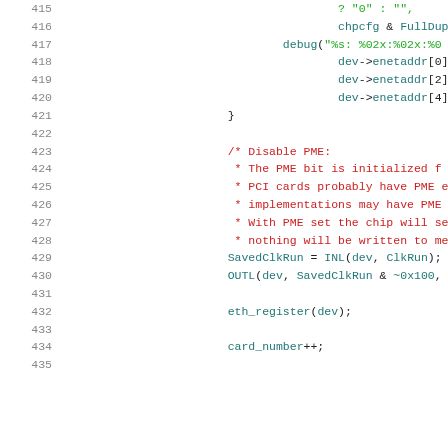[Figure (screenshot): Source code listing showing lines 415-435 of a C network driver file with syntax highlighting. Line numbers in gray on left, code in various colors (green for strings, red for comments, purple/teal for identifiers).]